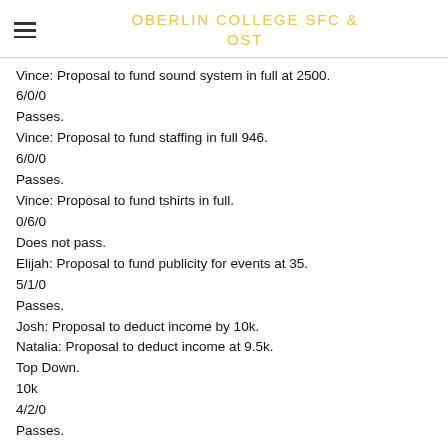OBERLIN COLLEGE SFC & OST
Vince: Proposal to fund sound system in full at 2500.
6/0/0
Passes.
Vince: Proposal to fund staffing in full 946.
6/0/0
Passes.
Vince: Proposal to fund tshirts in full.
0/6/0
Does not pass.
Elijah: Proposal to fund publicity for events at 35.
5/1/0
Passes.
Josh: Proposal to deduct income by 10k.
Natalia: Proposal to deduct income at 9.5k.
Top Down.
10k
4/2/0
Passes.